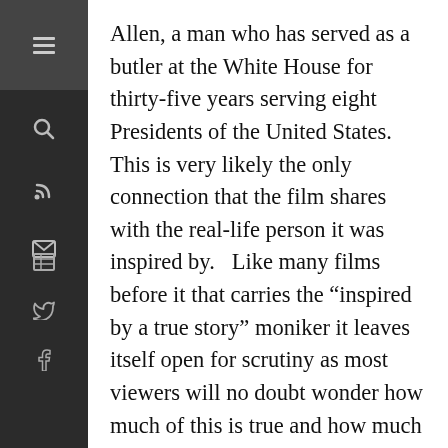Allen, a man who has served as a butler at the White House for thirty-five years serving eight Presidents of the United States.   This is very likely the only connection that the film shares with the real-life person it was inspired by.   Like many films before it that carries the “inspired by a true story” moniker it leaves itself open for scrutiny as most viewers will no doubt wonder how much of this is true and how much was created by the filmmakers.   Lee Daniels’ sweeping epic barely cuts the mustard.
It’s conceivable that perhaps Allen’s time in the White House was uneventful and wouldn’t have made for compelling